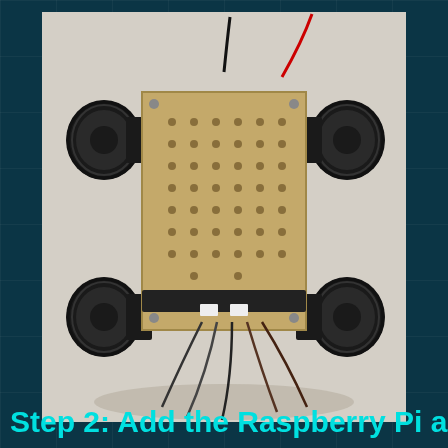[Figure (photo): Top-down view of a four-wheeled robot chassis made of a brown perforated board with four black rubber wheels at corners, black motor mounts, wires hanging from the bottom (including red, black, and brown wires), mounted on a light gray surface.]
Step 2: Add the Raspberry Pi and